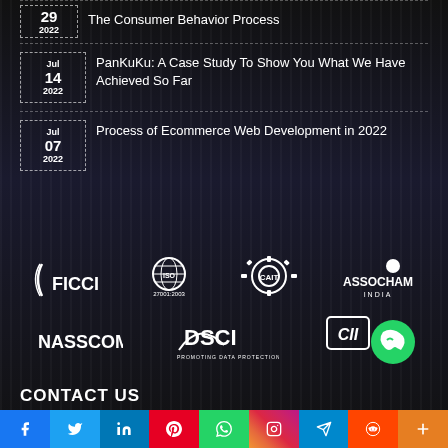29 2022 - The Consumer Behavior Process
Jul 14 2022 - PanKuKu: A Case Study To Show You What We Have Achieved So Far
Jul 07 2022 - Process of Ecommerce Web Development in 2022
[Figure (logo): FICCI logo]
[Figure (logo): ISO 27001:2003 logo]
[Figure (logo): CAIT logo]
[Figure (logo): ASSOCHAM India logo]
[Figure (logo): NASSCOM logo]
[Figure (logo): DSCI - Promoting Data Protection logo]
[Figure (logo): CII and WhatsApp logo]
CONTACT US
[Figure (infographic): Social media icons bar: Facebook, Twitter, LinkedIn, Pinterest, WhatsApp, Instagram, Telegram, Reddit, More]